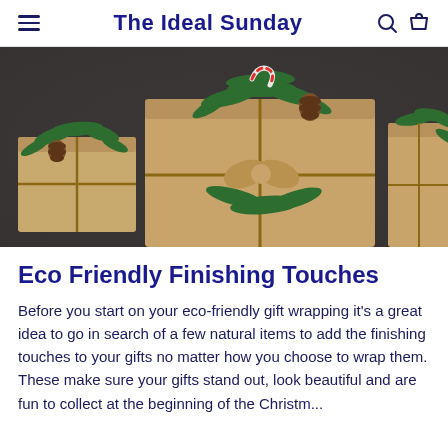The Ideal Sunday
[Figure (photo): Christmas gift boxes wrapped in kraft paper with pine branches, pine cones, candy cane decorations and twine bows on a dark background.]
Eco Friendly Finishing Touches
Before you start on your eco-friendly gift wrapping it's a great idea to go in search of a few natural items to add the finishing touches to your gifts no matter how you choose to wrap them. These make sure your gifts stand out, look beautiful and are fun to collect at the beginning of the Christm...